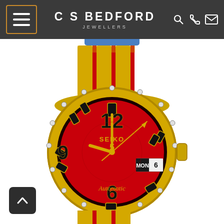C S Bedford Jewellers - navigation bar with hamburger menu, brand name, and icons
[Figure (photo): Seiko 5 Sports automatic watch with red dial, gold-tone case with bolted bezel, yellow and red NATO strap, showing MON 6 day-date display]
[Figure (other): Back to top arrow button in dark rounded square at bottom left]